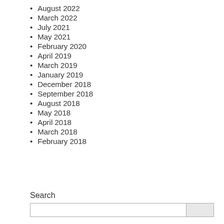August 2022
March 2022
July 2021
May 2021
February 2020
April 2019
March 2019
January 2019
December 2018
September 2018
August 2018
May 2018
April 2018
March 2018
February 2018
Search